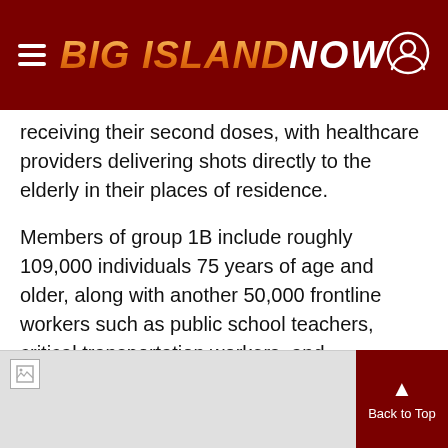BIG ISLAND NOW
receiving their second doses, with healthcare providers delivering shots directly to the elderly in their places of residence.
Members of group 1B include roughly 109,000 individuals 75 years of age and older, along with another 50,000 frontline workers such as public school teachers, critical transportation workers, and emergency service personnel. First doses of the vaccine are currently being administered to this group.
[Figure (other): Broken image placeholder at bottom of page with Back to Top button]